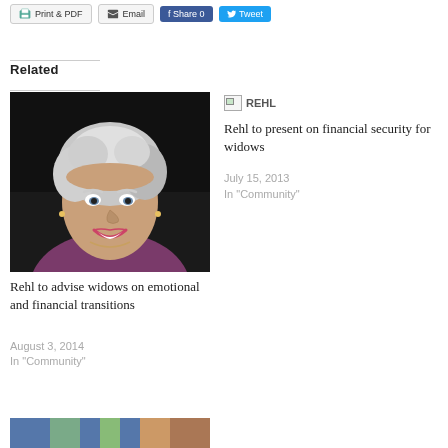Print & PDF | Email | Share 0 | Tweet
Related
[Figure (photo): Portrait photo of a smiling older woman with short silver hair wearing a purple jacket, against a dark background]
Rehl to advise widows on emotional and financial transitions
August 3, 2014
In "Community"
[Figure (photo): Small REHL logo/image placeholder (broken image icon)]
Rehl to present on financial security for widows
July 15, 2013
In "Community"
[Figure (photo): Partial image visible at bottom of page]